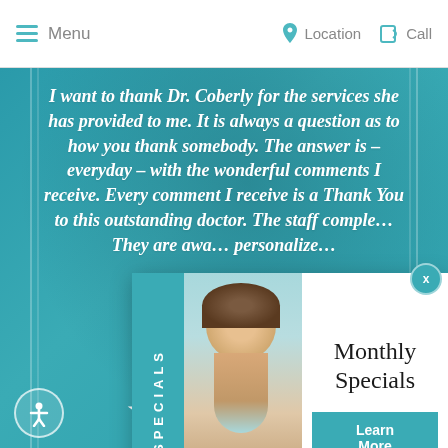Menu  Location  Call
I want to thank Dr. Coberly for the services she has provided to me. It is always a question as to how you thank somebody. The answer is – everyday – with the wonderful comments I receive. Every comment I receive is a Thank You to this outstanding doctor. The staff comple… They are awa… personalize…
[Figure (photo): Advertisement popup showing a woman smiling with 'Monthly Specials' text and 'Learn More' button, with a 'SPECIALS' vertical tab on the left side]
B.R.
[Figure (other): Five white star rating icons]
[Figure (logo): Privacy - Terms badge with reCAPTCHA logo]